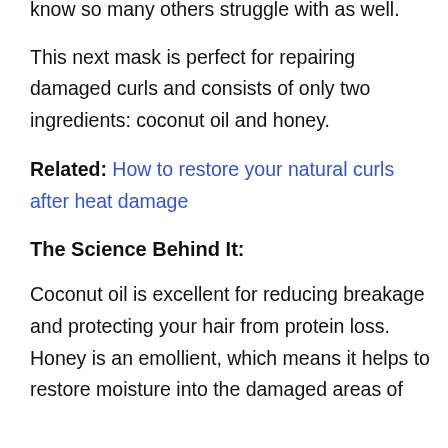know so many others struggle with as well.
This next mask is perfect for repairing damaged curls and consists of only two ingredients: coconut oil and honey.
Related: How to restore your natural curls after heat damage
The Science Behind It:
Coconut oil is excellent for reducing breakage and protecting your hair from protein loss. Honey is an emollient, which means it helps to restore moisture into the damaged areas of